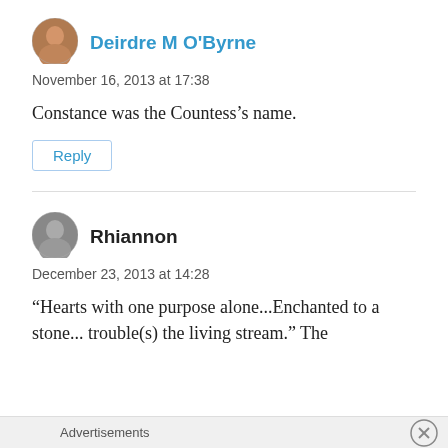[Figure (photo): Avatar photo of Deirdre M O'Byrne, a woman with brown hair]
Deirdre M O'Byrne
November 16, 2013 at 17:38
Constance was the Countess’s name.
Reply
[Figure (photo): Avatar photo of Rhiannon, a person]
Rhiannon
December 23, 2013 at 14:28
“Hearts with one purpose alone...Enchanted to a stone... trouble(s) the living stream.” The
Advertisements